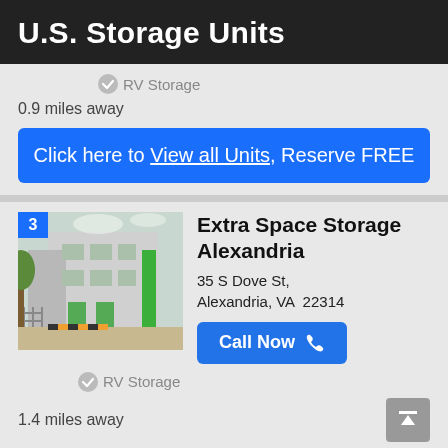U.S. Storage Units
RV Storage
0.9 miles away
Click here to View all Units, Reserve FREE
Extra Space Storage Alexandria
35 S Dove St, Alexandria, VA  22314
Call Now
RV Storage
1.4 miles away
Click here to View all Units, Reserve FREE